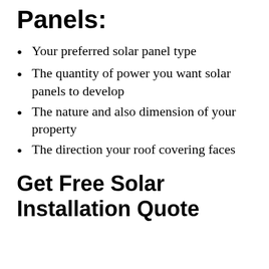Panels:
Your preferred solar panel type
The quantity of power you want solar panels to develop
The nature and also dimension of your property
The direction your roof covering faces
Get Free Solar Installation Quote